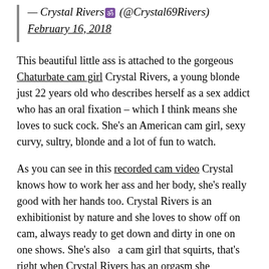— Crystal Rivers ॐ (@Crystal69Rivers) February 16, 2018
This beautiful little ass is attached to the gorgeous Chaturbate cam girl Crystal Rivers, a young blonde just 22 years old who describes herself as a sex addict who has an oral fixation – which I think means she loves to suck cock. She's an American cam girl, sexy curvy, sultry, blonde and a lot of fun to watch.
As you can see in this recorded cam video Crystal knows how to work her ass and her body, she's really good with her hands too. Crystal Rivers is an exhibitionist by nature and she loves to show off on cam, always ready to get down and dirty in one on one shows. She's also  a cam girl that squirts, that's right when Crystal Rivers has an orgasm she